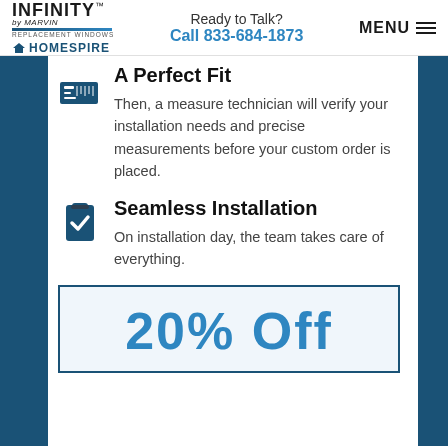INFINITY by MARVIN REPLACEMENT WINDOWS | HOMESPIRE | Ready to Talk? Call 833-684-1873 | MENU
A Perfect Fit
Then, a measure technician will verify your installation needs and precise measurements before your custom order is placed.
Seamless Installation
On installation day, the team takes care of everything.
20% Off